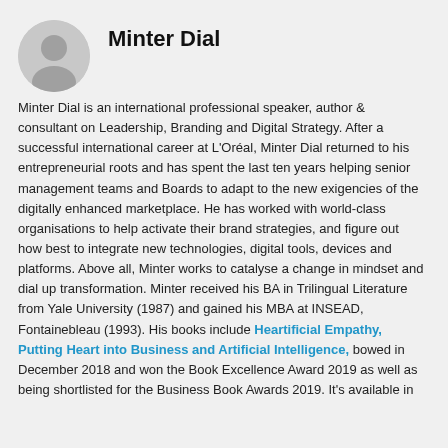[Figure (photo): Circular avatar/headshot photo of Minter Dial, shown in grayscale]
Minter Dial
Minter Dial is an international professional speaker, author & consultant on Leadership, Branding and Digital Strategy. After a successful international career at L'Oréal, Minter Dial returned to his entrepreneurial roots and has spent the last ten years helping senior management teams and Boards to adapt to the new exigencies of the digitally enhanced marketplace. He has worked with world-class organisations to help activate their brand strategies, and figure out how best to integrate new technologies, digital tools, devices and platforms. Above all, Minter works to catalyse a change in mindset and dial up transformation. Minter received his BA in Trilingual Literature from Yale University (1987) and gained his MBA at INSEAD, Fontainebleau (1993). His books include Heartificial Empathy, Putting Heart into Business and Artificial Intelligence, bowed in December 2018 and won the Book Excellence Award 2019 as well as being shortlisted for the Business Book Awards 2019. It's available in